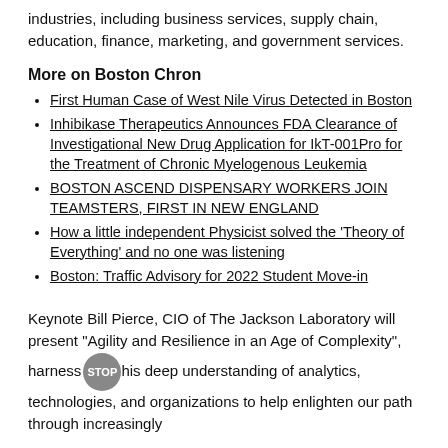industries, including business services, supply chain, education, finance, marketing, and government services.
More on Boston Chron
First Human Case of West Nile Virus Detected in Boston
Inhibikase Therapeutics Announces FDA Clearance of Investigational New Drug Application for IkT-001Pro for the Treatment of Chronic Myelogenous Leukemia
BOSTON ASCEND DISPENSARY WORKERS JOIN TEAMSTERS, FIRST IN NEW ENGLAND
How a little independent Physicist solved the 'Theory of Everything' and no one was listening
Boston: Traffic Advisory for 2022 Student Move-in
Keynote Bill Pierce, CIO of The Jackson Laboratory will present "Agility and Resilience in an Age of Complexity", harness his deep understanding of analytics, technologies, and organizations to help enlighten our path through increasingly